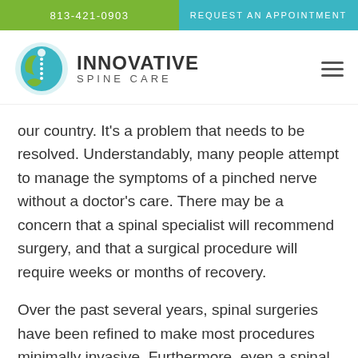813-421-0903   REQUEST AN APPOINTMENT
[Figure (logo): Innovative Spine Care logo with circular blue and green spine figure graphic and brand name text]
our country. It's a problem that needs to be resolved. Understandably, many people attempt to manage the symptoms of a pinched nerve without a doctor's care. There may be a concern that a spinal specialist will recommend surgery, and that a surgical procedure will require weeks or months of recovery.
Over the past several years, spinal surgeries have been refined to make most procedures minimally invasive. Furthermore, even a spinal surgeon will recommend conservative therapies whenever possible. What we're trying to say is, come see us. If you're affected by back or